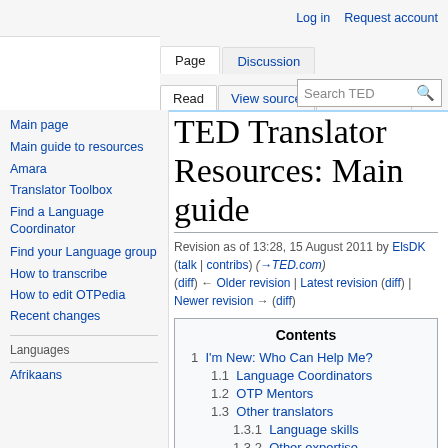Log in  Request account
Page  Discussion  Read  View source  View history  Search TED
TED Translator Resources: Main guide
Revision as of 13:28, 15 August 2011 by ElsDK (talk | contribs) (→TED.com) (diff) ← Older revision | Latest revision (diff) | Newer revision → (diff)
Contents
1  I'm New: Who Can Help Me?
1.1  Language Coordinators
1.2  OTP Mentors
1.3  Other translators
1.3.1  Language skills
1.3.2  Other expertise
Main page
Main guide to resources
Amara
Translator Toolbox
Find a Language Coordinator
Find your Language group
How to transcribe
How to edit OTPedia
Recent changes
Languages
Afrikaans